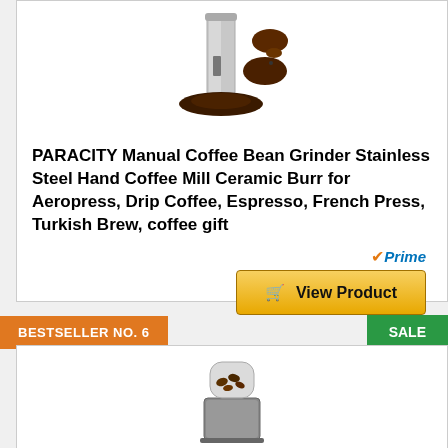[Figure (photo): Manual coffee bean grinder stainless steel product photo with coffee grounds]
PARACITY Manual Coffee Bean Grinder Stainless Steel Hand Coffee Mill Ceramic Burr for Aeropress, Drip Coffee, Espresso, French Press, Turkish Brew, coffee gift
[Figure (logo): Amazon Prime checkmark logo with text 'Prime']
View Product
BESTSELLER NO. 6
SALE
[Figure (photo): Electric coffee grinder product photo, bottom portion visible]